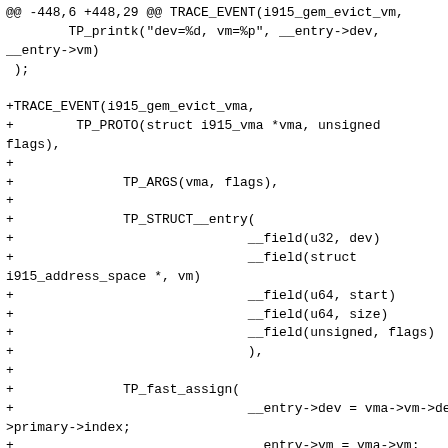@@ -448,6 +448,29 @@ TRACE_EVENT(i915_gem_evict_vm,
        TP_printk("dev=%d, vm=%p", __entry->dev,
__entry->vm)
 );

+TRACE_EVENT(i915_gem_evict_vma,
+        TP_PROTO(struct i915_vma *vma, unsigned flags),
+
+              TP_ARGS(vma, flags),
+
+              TP_STRUCT__entry(
+                              __field(u32, dev)
+                              __field(struct
i915_address_space *, vm)
+                              __field(u64, start)
+                              __field(u64, size)
+                              __field(unsigned, flags)
+                              ),
+
+              TP_fast_assign(
+                              __entry->dev = vma->vm->dev->primary->index;
+                              __entry->vm = vma->vm;
+                              __entry->start = vma->node.start;
+                              __entry->size = vma->node.size;
+                              __entry->flags = flags;
+                              ),
+
+              TP_printk("dev=%d, vm=%p, start=%llu...